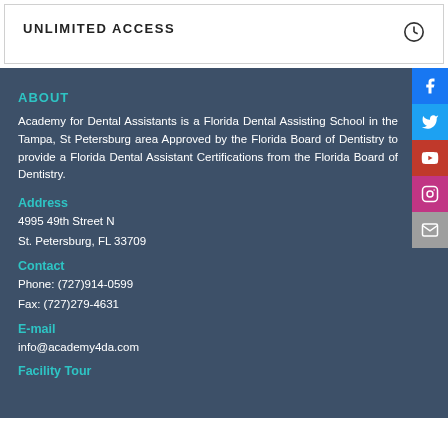UNLIMITED ACCESS
ABOUT
Academy for Dental Assistants is a Florida Dental Assisting School in the Tampa, St Petersburg area Approved by the Florida Board of Dentistry to provide a Florida Dental Assistant Certifications from the Florida Board of Dentistry.
Address
4995 49th Street N
St. Petersburg, FL 33709
Contact
Phone: (727)914-0599
Fax: (727)279-4631
E-mail
info@academy4da.com
Facility Tour